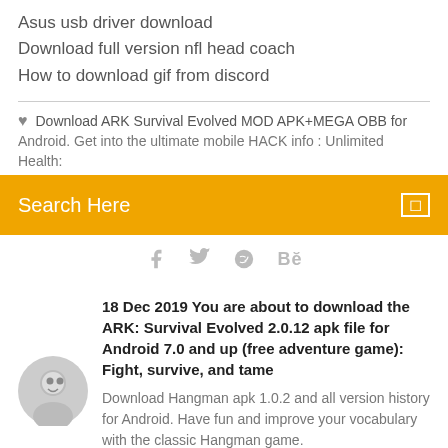Asus usb driver download
Download full version nfl head coach
How to download gif from discord
Download ARK Survival Evolved MOD APK+MEGA OBB for Android. Get into the ultimate mobile HACK info : Unlimited Health:
Search Here
[Figure (infographic): Social media icons: Facebook, Twitter, Dribbble, Behance]
18 Dec 2019 You are about to download the ARK: Survival Evolved 2.0.12 apk file for Android 7.0 and up (free adventure game): Fight, survive, and tame
Download Hangman apk 1.0.2 and all version history for Android. Have fun and improve your vocabulary with the classic Hangman game.